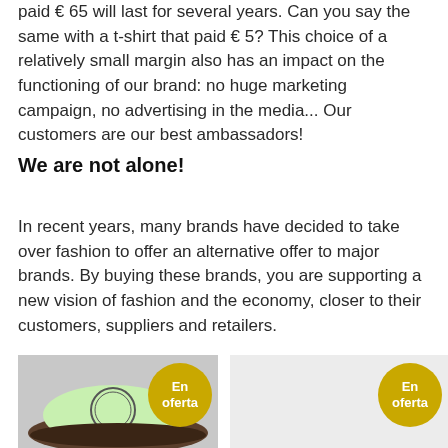paid € 65 will last for several years. Can you say the same with a t-shirt that paid € 5? This choice of a relatively small margin also has an impact on the functioning of our brand: no huge marketing campaign, no advertising in the media... Our customers are our best ambassadors!
We are not alone!
In recent years, many brands have decided to take over fashion to offer an alternative offer to major brands. By buying these brands, you are supporting a new vision of fashion and the economy, closer to their customers, suppliers and retailers.
[Figure (photo): Photo of a light green and brown trucker cap with a circular logo, with a golden 'En oferta' badge overlay]
[Figure (photo): Partial product image with a golden 'En oferta' badge overlay on a light grey background]